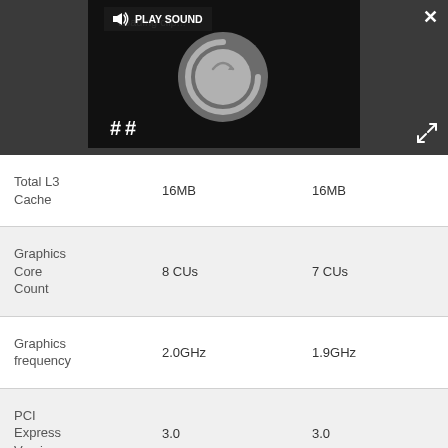[Figure (screenshot): Video player loading screen with PLAY SOUND overlay, pause icon, loading spinner circle, close (X) button top right, expand button bottom right, on dark background]
|  | Value 1 | Value 2 |
| --- | --- | --- |
| Total L3 Cache | 16MB | 16MB |
| Graphics Core Count | 8 CUs | 7 CUs |
| Graphics frequency | 2.0GHz | 1.9GHz |
| PCI Express Version | 3.0 | 3.0 |
| TDP | 65W | 65W |